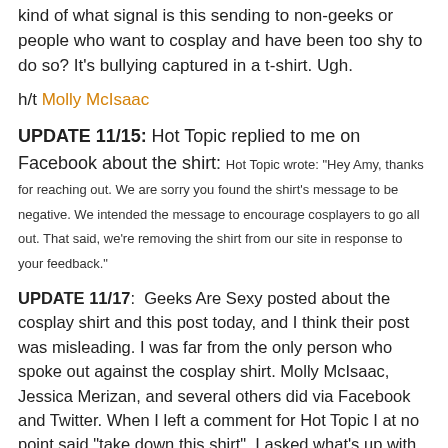kind of what signal is this sending to non-geeks or people who want to cosplay and have been too shy to do so? It's bullying captured in a t-shirt. Ugh.
h/t Molly McIsaac
UPDATE 11/15: Hot Topic replied to me on Facebook about the shirt: Hot Topic wrote: "Hey Amy, thanks for reaching out. We are sorry you found the shirt's message to be negative. We intended the message to encourage cosplayers to go all out. That said, we're removing the shirt from our site in response to your feedback."
UPDATE 11/17:  Geeks Are Sexy posted about the cosplay shirt and this post today, and I think their post was misleading. I was far from the only person who spoke out against the cosplay shirt. Molly McIsaac, Jessica Merizan, and several others did via Facebook and Twitter. When I left a comment for Hot Topic I at no point said "take down this shirt", I asked what's up with the negativity? They replied to me with the message above which they also copy/pasted to almost everyone who commented about the tee on Twitter and Facebook. There's no way a store would pull something down because one person didn't like it. That would be dumb